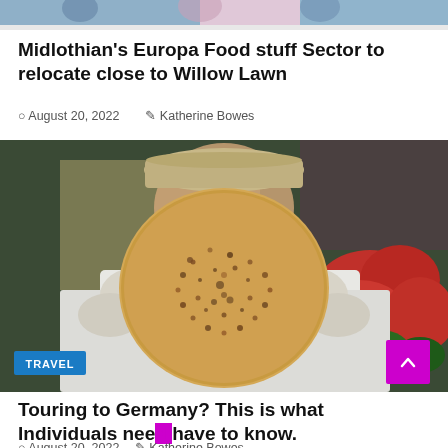[Figure (photo): Partial top image showing people, cropped at top of page]
Midlothian's Europa Food stuff Sector to relocate close to Willow Lawn
August 20, 2022   Katherine Bowes
[Figure (photo): Man in baseball cap holding a large round seeded flatbread/cracker with gloved hands, strawberries visible in background. TRAVEL badge in bottom left corner.]
Touring to Germany? This is what Individuals need have to know.
August 20, 2022   Katherine Bowes